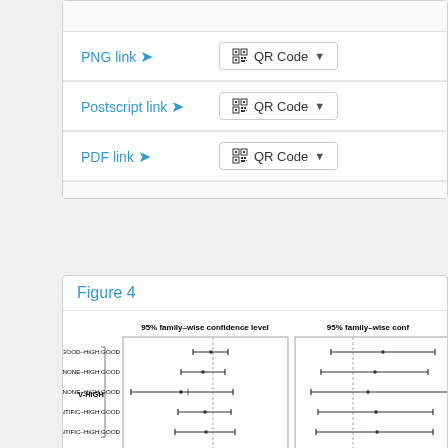PNG link ↪
[Figure (other): QR Code dropdown button]
Postscript link ↪
[Figure (other): QR Code dropdown button]
PDF link ↪
[Figure (other): QR Code dropdown button]
Figure 4
[Figure (continuous-plot): 95% family-wise confidence level interval plot showing pairwise comparisons. Y-axis categories include LOW:GOOD-HIGH:GOOD, HIGH:NONE-HIGH:GOOD, LOW:NONE-HIGH:GOOD, HIGH:SCIENTIFIC-HIGH:GOOD, LOW:SCIENTIFIC-HIGH:GOOD. Left panel labeled V-HIGH. Partially visible right panel labeled '95% family-wise conf'.]